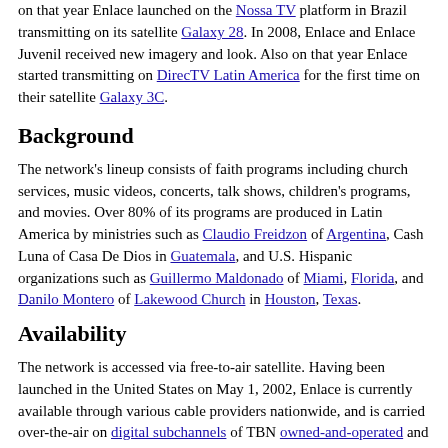on that year Enlace launched on the Nossa TV platform in Brazil transmitting on its satellite Galaxy 28. In 2008, Enlace and Enlace Juvenil received new imagery and look. Also on that year Enlace started transmitting on DirecTV Latin America for the first time on their satellite Galaxy 3C.
Background
The network's lineup consists of faith programs including church services, music videos, concerts, talk shows, children's programs, and movies. Over 80% of its programs are produced in Latin America by ministries such as Claudio Freidzon of Argentina, Cash Luna of Casa De Dios in Guatemala, and U.S. Hispanic organizations such as Guillermo Maldonado of Miami, Florida, and Danilo Montero of Lakewood Church in Houston, Texas.
Availability
The network is accessed via free-to-air satellite. Having been launched in the United States on May 1, 2002, Enlace is currently available through various cable providers nationwide, and is carried over-the-air on digital subchannels of TBN owned-and-operated and affiliated stations, usually on the fourth subchannel. Enlace is also available across North America, including Mexico